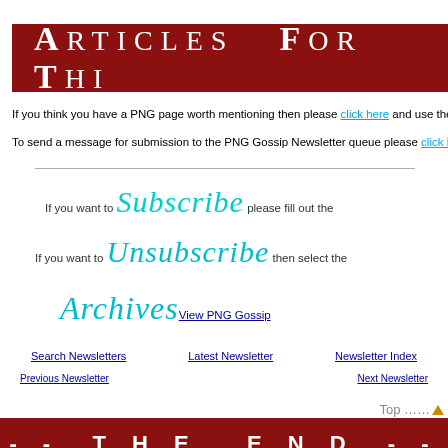Articles For Thi
If you think you have a PNG page worth mentioning then please click here and use the su
To send a message for submission to the PNG Gossip Newsletter queue please click here
If you want to Subscribe please fill out the
If you want to Unsubscribe then select the
Archives View PNG Gossip
Search Newsletters
Latest Newsletter
Newsletter Index
Previous Newsletter
Next Newsletter
Top ......
- - THE END - -
In Tok Pisin - em tasol